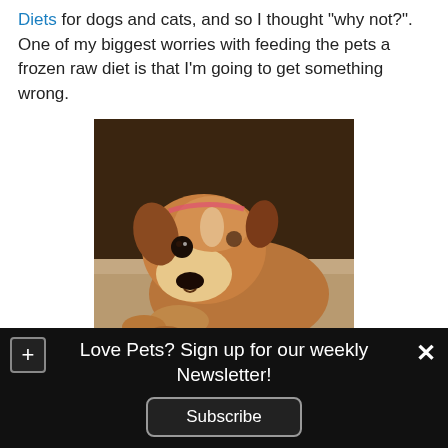Diets for dogs and cats, and so I thought "why not?". One of my biggest worries with feeding the pets a frozen raw diet is that I'm going to get something wrong.
[Figure (photo): A brown and white puppy lying down on a carpet, looking at the camera with a sad/tired expression. The dog's chin is resting near the ground. A watermark reads 'mygoodlifepets.com' in the lower right corner.]
Love Pets? Sign up for our weekly Newsletter!
Subscribe